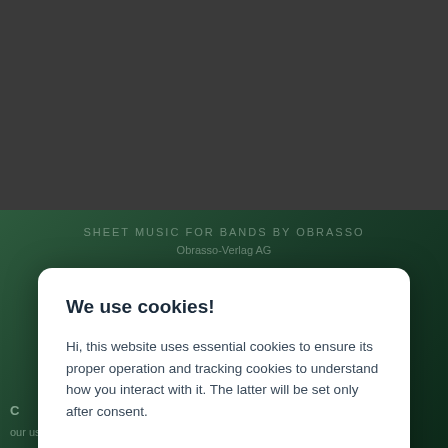[Figure (screenshot): Website background showing dark grey top area and dark green bottom area with overlaid text 'SHEET MUSIC FOR BANDS BY OBRASSO' and 'Obrasso-Verlag AG']
We use cookies!
Hi, this website uses essential cookies to ensure its proper operation and tracking cookies to understand how you interact with it. The latter will be set only after consent.
Accept all
Settings